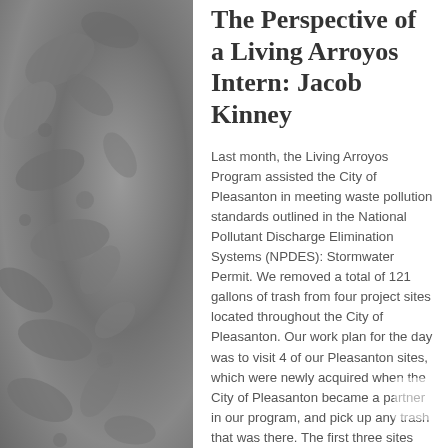[Figure (photo): Grayscale background photo of leaves and pebbles/rocks, appearing on the left and right sides of the page behind the white content column.]
The Perspective of a Living Arroyos Intern: Jacob Kinney
Last month, the Living Arroyos Program assisted the City of Pleasanton in meeting waste pollution standards outlined in the National Pollutant Discharge Elimination Systems (NPDES): Stormwater Permit. We removed a total of 121 gallons of trash from four project sites located throughout the City of Pleasanton. Our work plan for the day was to visit 4 of our Pleasanton sites, which were newly acquired when the City of Pleasanton became a partner in our program, and pick up any trash that was there. The first three sites our crew visited were (1) Marilyn Murphy Kane “BMX” track (2) Pleasanton West Detention Pond (3) Bernal/Fairgrounds Ditch. Collectively, these sites had relatively small amounts of trash